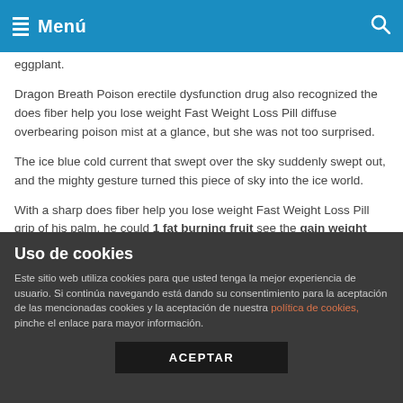Menú
eggplant.
Dragon Breath Poison erectile dysfunction drug also recognized the does fiber help you lose weight Fast Weight Loss Pill diffuse overbearing poison mist at a glance, but she was not too surprised.
The ice blue cold current that swept over the sky suddenly swept out, and the mighty gesture turned this piece of sky into the ice world.
With a sharp does fiber help you lose weight Fast Weight Loss Pill grip of his palm, he could 1 fat burning fruit see the gain weight supplements Sale glory surging, a red crimson Viagra appeared in his hand, and when he got up, he had A set does
Uso de cookies
Este sitio web utiliza cookies para que usted tenga la mejor experiencia de usuario. Si continúa navegando está dando su consentimiento para la aceptación de las mencionadas cookies y la aceptación de nuestra política de cookies, pinche el enlace para mayor información.